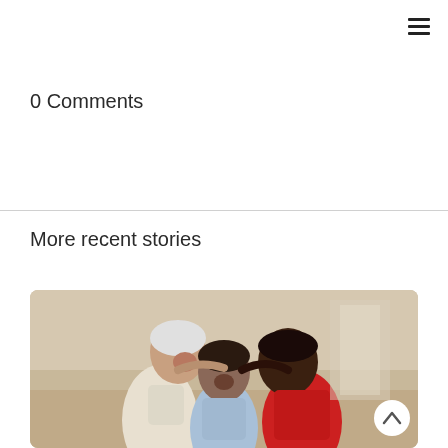☰
0 Comments
More recent stories
[Figure (photo): Three elderly men smiling and hugging each other. One man wears a white/cream top, the center man wears a light blue shirt and is laughing, and the man on the right wears a red t-shirt. They appear to be in an indoor setting.]